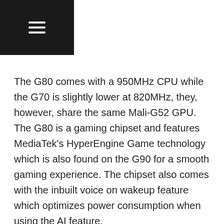[Figure (other): Dark header bar with hamburger menu icon (three horizontal white lines) in the top-left corner]
The G80 comes with a 950MHz CPU while the G70 is slightly lower at 820MHz, they, however, share the same Mali-G52 GPU. The G80 is a gaming chipset and features MediaTek's HyperEngine Game technology which is also found on the G90 for a smooth gaming experience. The chipset also comes with the inbuilt voice on wakeup feature which optimizes power consumption when using the AI feature.
Related: MediaTek Announces Dimensity 800 Chipset with Integrated 5G Modem
The gaming chipsets are expected to debut in India on